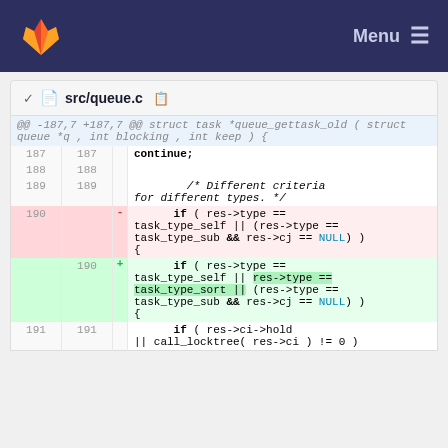src/queue.c — GitLab diff view
src/queue.c
[Figure (screenshot): Code diff view showing changes to src/queue.c around lines 187-191. Line 190 is removed (red) showing 'if ( res->type == task_type_self || (res->type == task_type_sub && res->cj == NULL) ) {'. Line 190 is added (green) showing 'if ( res->type == task_type_self || res->type == task_type_sort || (res->type == task_type_sub && res->cj == NULL) ) {'. Lines 187-189 and 191 are context lines.]